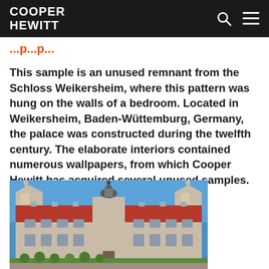COOPER HEWITT
This sample is an unused remnant from the Schloss Weikersheim, where this pattern was hung on the walls of a bedroom. Located in Weikersheim, Baden-Wüttemburg, Germany, the palace was constructed during the twelfth century. The elaborate interiors contained numerous wallpapers, from which Cooper Hewitt has acquired several unused samples.
[Figure (photo): Photograph of Schloss Weikersheim, a palace with red-tiled roof, ornate Renaissance gabled facades, and a central tower against a blue sky, with green topiary hedges in the foreground.]